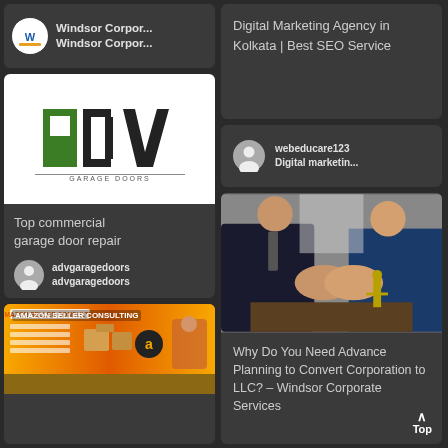[Figure (screenshot): Windsor Corporate logo circle with W icon]
Windsor Corpor...
Windsor Corpor...
[Figure (logo): ADV Garage Doors logo - green and black letters on white background]
Top commercial garage door repair
advgaragedoors
advgaragedoors
[Figure (screenshot): Amazon Seller Consulting banner with orange background, boxes and person]
Digital Marketing Agency in Kolkata | Best SEO Service
webeducare123
Digital marketin...
[Figure (photo): Two businessmen in suits shaking hands across a desk with law statue in background]
Why Do You Need Advance Planning to Convert Corporation to LLC? – Windsor Corporate Services